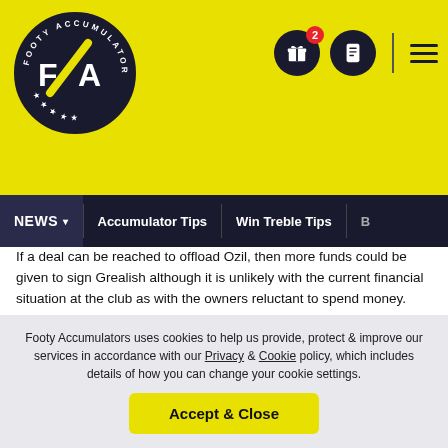[Figure (logo): Footy Accumulators circular logo with FA initials on yellow background]
NEWS | Accumulator Tips | Win Treble Tips | Be
If a deal can be reached to offload Ozil, then more funds could be given to sign Grealish although it is unlikely with the current financial situation at the club as with the owners reluctant to spend money.
Philippe Coutinho was one player that the Gunners were heavily linked with this Summer but with Barcelona preferring to sell the player rather than loan him out for another year, the Villa star could be the alternative.
Arsenal are now 5/1 odds to sign Grealish this transfer
Footy Accumulators uses cookies to help us provide, protect & improve our services in accordance with our Privacy & Cookie policy, which includes details of how you can change your cookie settings.
Accept & Close